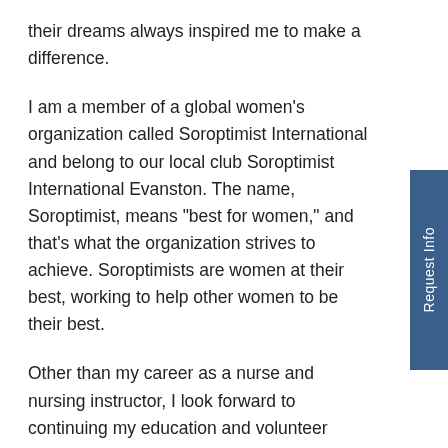their dreams always inspired me to make a difference.
I am a member of a global women's organization called Soroptimist International and belong to our local club Soroptimist International Evanston. The name, Soroptimist, means "best for women," and that's what the organization strives to achieve. Soroptimists are women at their best, working to help other women to be their best.
Other than my career as a nurse and nursing instructor, I look forward to continuing my education and volunteer work.  I will be married to my best friend and husband Ben for 10 years in May. He is my ROCK and inspires me to do better everyday and brings out the best in me.